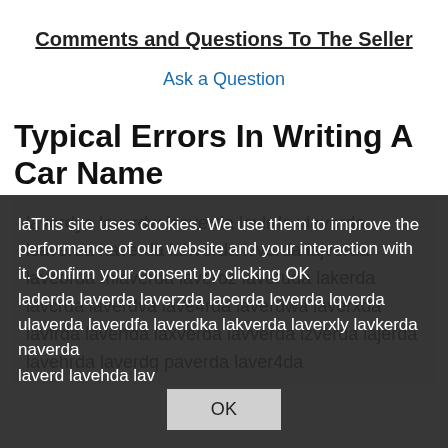Comments and Questions To The Seller
Ask a Question
Typical Errors In Writing A Car Name
laverdya laverdw lasverda lavlrda vlaverda lsaverda haverda lahverda lvverda lajverda lavebrda mlaverda laverdz laveruda lakerda lavcrda laverdva lave4rda laverdwa laverxda lavfrda laverfda laxverda lavverda lzverda lajerda lavehrda laverdq paverda laver4da la... laderda la... verda laverzda lacerda lcverda lqverda ulaverda laverdfa laverdka lakverda laverx... ly lavkerda naverda laverd... lavehda lav...
This site uses cookies. We use them to improve the performance of our website and your interaction with it. Confirm your consent by clicking OK
OK